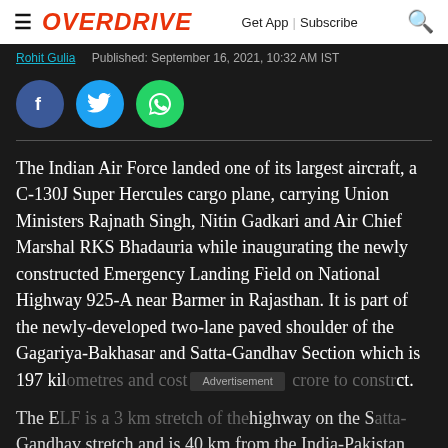OVERDRIVE | Get App | Subscribe
Rohit Gulia   Published: September 16, 2021, 10:32 AM IST
[Figure (infographic): Social share buttons: Facebook (blue circle), Twitter (cyan circle), WhatsApp (green circle)]
The Indian Air Force landed one of its largest aircraft, a C-130J Super Hercules cargo plane, carrying Union Ministers Rajnath Singh, Nitin Gadkari and Air Chief Marshal RKS Bhadauria while inaugurating the newly constructed Emergency Landing Field on National Highway 925-A near Barmer in Rajasthan. It is part of the newly-developed two-lane paved shoulder of the Gagariya-Bakhasar and Satta-Gandhav Section which is 197 kilometres and cost [Advertisement] crore to construct.
The ELF is a 3 km stretch of the highway on the Satta-Gandhav stretch and is 40 km from the India-Pakistan